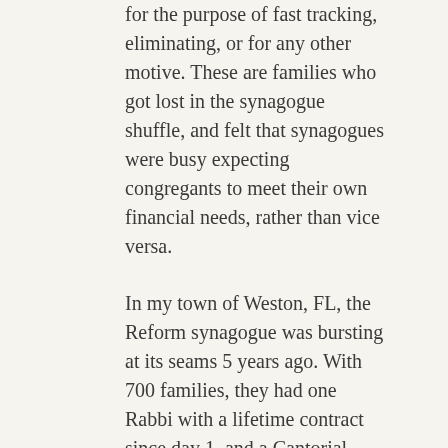for the purpose of fast tracking, eliminating, or for any other motive. These are families who got lost in the synagogue shuffle, and felt that synagogues were busy expecting congregants to meet their own financial needs, rather than vice versa.
In my town of Weston, FL, the Reform synagogue was bursting at its seams 5 years ago. With 700 families, they had one Rabbi with a lifetime contract since day 1, and a Cantorial soloist (not even a Cantor).
B'Nai Mitzvah services were doubled, to two a day, on Saturday morning ONLY, with 2 students in each service.
Many families wanted Havdalah services. Many families wanted smaller, private services to be